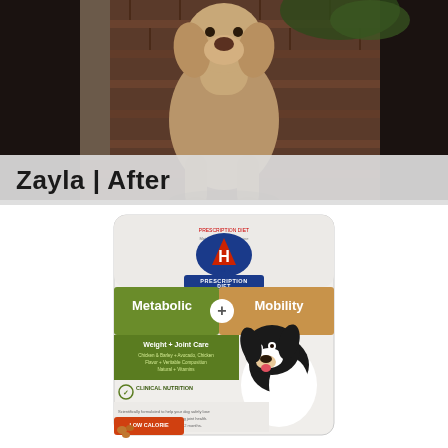[Figure (photo): Photo of a large tan/beige dog standing on a brick patio outdoors. The dog is viewed from the front, with plants/greenery visible in the background. This is the 'after' photo of a dog named Zayla.]
Zayla | After
[Figure (photo): Product photo of Hill's Prescription Diet Metabolic + Mobility dog food bag. The bag shows a black and white dog on the right side, green and tan color sections on the front with 'Metabolic + Mobility' text, 'Weight + Joint Care' subtitle, 'Clinical Nutrition' badge, and Hill's logo with Prescription Diet branding at top.]